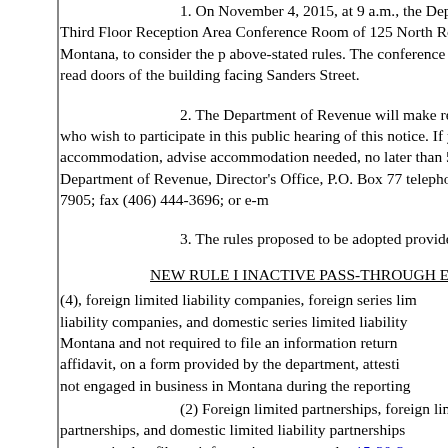1. On November 4, 2015, at 9 a.m., the Department will hold a public hearing in the Third Floor Reception Area Conference Room of the Sam W. Mitchell Building, 125 North Roberts, Helena, Montana, to consider the proposed adoption of the above-stated rules. The conference room is most readily accessed through the doors of the building facing Sanders Street.
2. The Department of Revenue will make reasonable accommodations for persons with disabilities who wish to participate in this public hearing or need an alternative accessible format of this notice. If you require an accommodation, advise the department of the type of accommodation needed, no later than 5 p.m. on October 28, 2015. Please contact the Department of Revenue, Director's Office, P.O. Box 7701, Helena, Montana 59604-7701; telephone (406) 444-7905; fax (406) 444-3696; or e-mail dgallagher@mt.gov.
3. The rules proposed to be adopted provide as follows:
NEW RULE I INACTIVE PASS-THROUGH ENTITIES
(4), foreign limited liability companies, foreign series limited liability companies, domestic series limited liability companies, and domestic series limited liability Montana and not required to file an information return affidavit, on a form provided by the department, attesting not engaged in business in Montana during the reporting
(2) Foreign limited partnerships, foreign limited liability partnerships, and domestic limited liability partnerships not required to file an information return under 15-30-3 form provided by the department, attesting that the limited